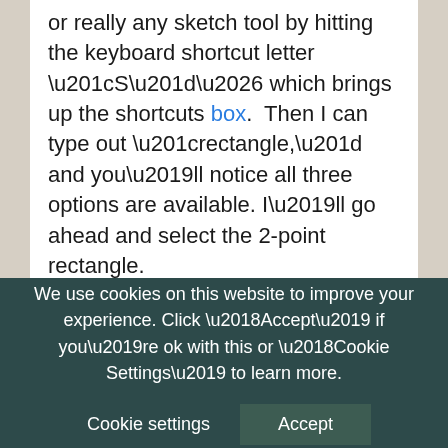or really any sketch tool by hitting the keyboard shortcut letter “S”… which brings up the shortcuts box.  Then I can type out “rectangle,” and you’ll notice all three options are available. I’ll go ahead and select the 2-point rectangle.

Next, you’ll be prompted to select an origin plane to create a sketch on… or, if you already have existing 3D geometry, you can create a sketch on one of its faces.
I’ll go ahead and select the bottom and...
We use cookies on this website to improve your experience. Click ‘Accept’ if you’re ok with this or ‘Cookie Settings’ to learn more.